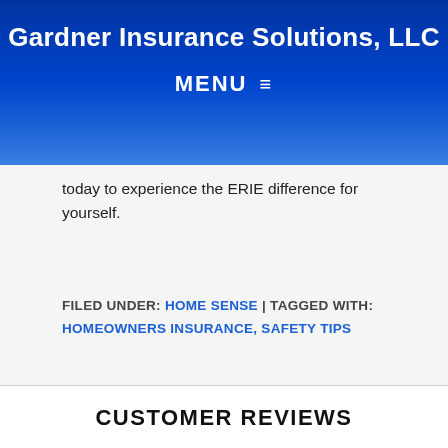Gardner Insurance Solutions, LLC
MENU ≡
today to experience the ERIE difference for yourself.
FILED UNDER: HOME SENSE | TAGGED WITH: HOMEOWNERS INSURANCE, SAFETY TIPS
CUSTOMER REVIEWS